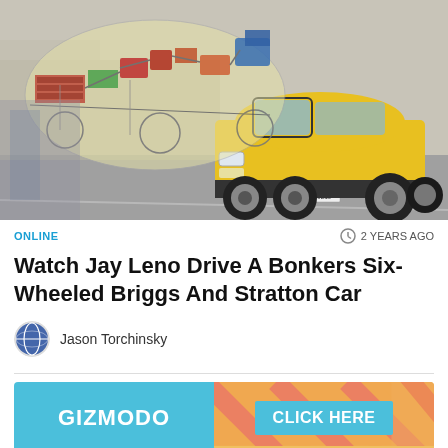[Figure (photo): A yellow six-wheeled Briggs and Stratton car driving on a road, with a technical/exploded diagram overlay showing the car's components on the left side. Background shows residential street.]
ONLINE
2 YEARS AGO
Watch Jay Leno Drive A Bonkers Six-Wheeled Briggs And Stratton Car
Jason Torchinsky
[Figure (other): Gizmodo advertisement banner with 'GIZMODO' text on cyan/blue background on left and 'CLICK HERE' button on right with diagonal stripe pattern in orange and pink.]